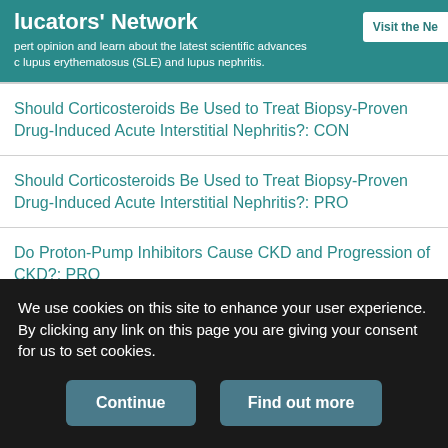lucators' Network
pert opinion and learn about the latest scientific advances c lupus erythematosus (SLE) and lupus nephritis.
Visit the Ne
Should Corticosteroids Be Used to Treat Biopsy-Proven Drug-Induced Acute Interstitial Nephritis?: CON
Should Corticosteroids Be Used to Treat Biopsy-Proven Drug-Induced Acute Interstitial Nephritis?: PRO
Do Proton-Pump Inhibitors Cause CKD and Progression of CKD?: PRO
Show more Debates in Nephrology
Cited By
We use cookies on this site to enhance your user experience. By clicking any link on this page you are giving your consent for us to set cookies.